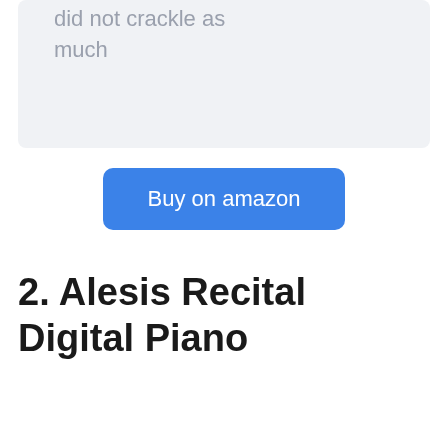did not crackle as much
[Figure (other): Buy on amazon button - blue rounded rectangle]
2. Alesis Recital Digital Piano